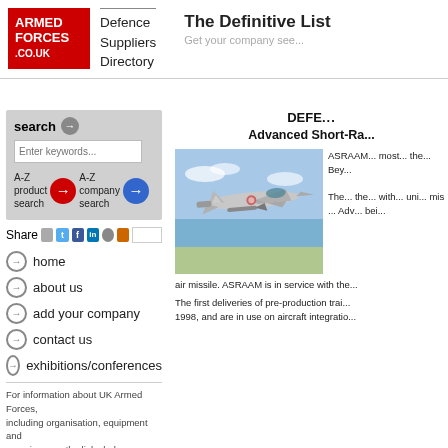ARMED FORCES .CO.UK | Defence Suppliers Directory | The Definitive List... | Get your company see...
search
Enter keywords...
A-Z product search | A-Z company search
Share
home
about us
add your company
contact us
exhibitions/conferences
For information about UK Armed Forces, including organisation, equipment and manning, use the links below:
DEFE...
Advanced Short-Ra...
[Figure (photo): Eurofighter Typhoon jet fighter in flight firing a missile, photographed from the side against a sky and sea background]
ASRAAM... most... the... Bey...
The... the... with... uni... mis... Adv... bei...
air missile. ASRAAM is in service with the...
The first deliveries of pre-production trai... 1998, and are in use on aircraft integratio...